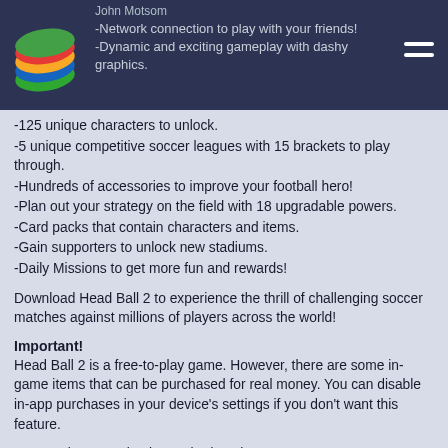John Motsom
-Network connection to play with your friends!
-Dynamic and exciting gameplay with dashy graphics.
-125 unique characters to unlock.
-5 unique competitive soccer leagues with 15 brackets to play through.
-Hundreds of accessories to improve your football hero!
-Plan out your strategy on the field with 18 upgradable powers.
-Card packs that contain characters and items.
-Gain supporters to unlock new stadiums.
-Daily Missions to get more fun and rewards!
Download Head Ball 2 to experience the thrill of challenging soccer matches against millions of players across the world!
Important!
Head Ball 2 is a free-to-play game. However, there are some in-game items that can be purchased for real money. You can disable in-app purchases in your device's settings if you don't want this feature.
A network connection is required to play.